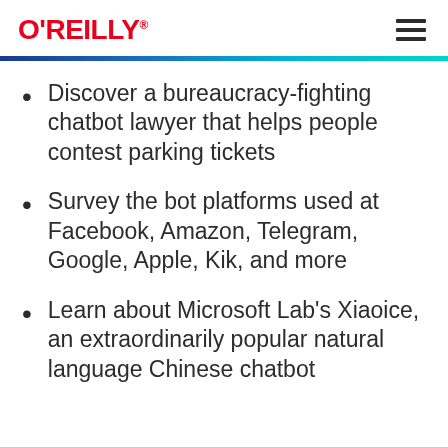O'REILLY
Discover a bureaucracy-fighting chatbot lawyer that helps people contest parking tickets
Survey the bot platforms used at Facebook, Amazon, Telegram, Google, Apple, Kik, and more
Learn about Microsoft Lab's Xiaoice, an extraordinarily popular natural language Chinese chatbot